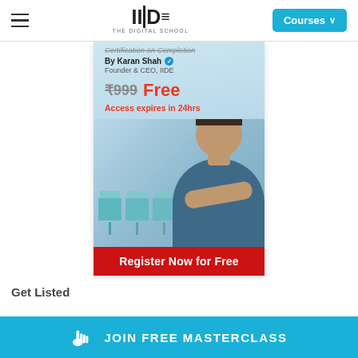IIDE – THE DIGITAL SCHOOL | Courses
[Figure (screenshot): IIDE promotional ad banner. Shows 'Certification on Completion', By Karan Shah (Founder & CEO, IIDE) with verified badge, original price ₹999 struck through, 'Free', 'Access expires in 24hrs' in red, photo of a smiling man in blue shirt with arms crossed, light blue chairs in background, and a red 'Register Now for Free' button at the bottom.]
Get Listed
👆 JOIN FREE MASTERCLASS